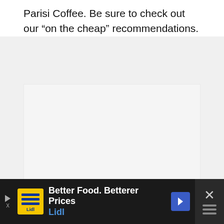Parisi Coffee. Be sure to check out our “on the cheap” recommendations.
[Figure (photo): A mostly blank/loading image placeholder with three small dots at the bottom center, suggesting an image carousel or loading state.]
[Figure (infographic): Advertisement banner at the bottom: dark background with a Lidl logo (yellow square), text 'Better Food. Betterer Prices' and 'Lidl' in blue, a blue navigation arrow icon, and a close/mute button on the right.]